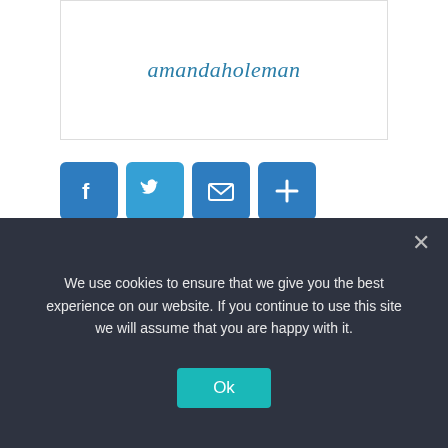amandaholeman
[Figure (other): Social sharing icons: Facebook, Twitter, Email, Share (plus sign) — blue rounded square buttons]
‹ Prev
Below Cover: How Chef Rachel Redeemed Herself in Season 9
We use cookies to ensure that we give you the best experience on our website. If you continue to use this site we will assume that you are happy with it.
Ok